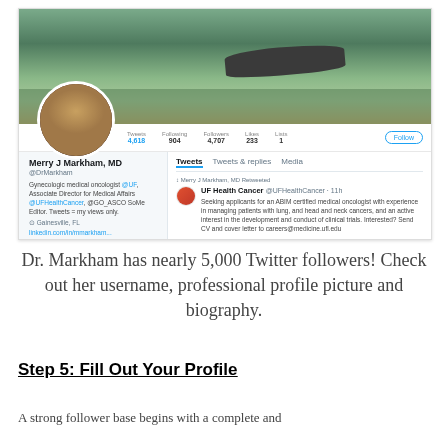[Figure (screenshot): Twitter profile screenshot of Merry J Markham, MD (@DrMarkham), a Gynecologic medical oncologist. Banner shows an alligator in a swamp. Stats: Tweets 4,618, Following 904, Followers 4,707, Likes 233, Lists 1. Profile includes bio and a tweet from UF Health Cancer seeking an ABIM certified medical oncologist.]
Dr. Markham has nearly 5,000 Twitter followers! Check out her username, professional profile picture and biography.
Step 5: Fill Out Your Profile
A strong follower base begins with a complete and